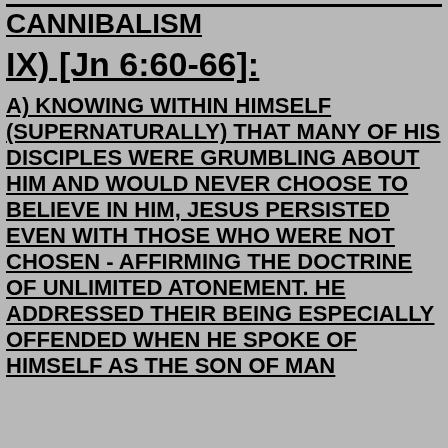CANNIBALISM
IX) [Jn 6:60-66]:
A) KNOWING WITHIN HIMSELF (SUPERNATURALLY) THAT MANY OF HIS DISCIPLES WERE GRUMBLING ABOUT HIM AND WOULD NEVER CHOOSE TO BELIEVE IN HIM, JESUS PERSISTED EVEN WITH THOSE WHO WERE NOT CHOSEN - AFFIRMING THE DOCTRINE OF UNLIMITED ATONEMENT. HE ADDRESSED THEIR BEING ESPECIALLY OFFENDED WHEN HE SPOKE OF HIMSELF AS THE SON OF MAN